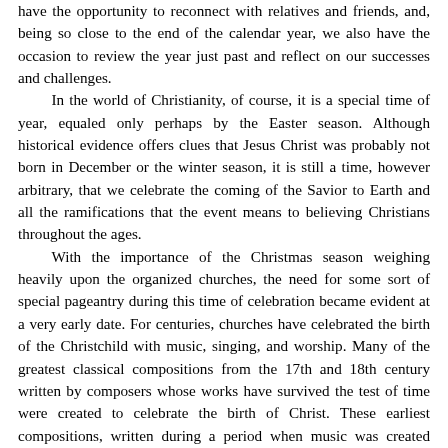have the opportunity to reconnect with relatives and friends, and, being so close to the end of the calendar year, we also have the occasion to review the year just past and reflect on our successes and challenges.

In the world of Christianity, of course, it is a special time of year, equaled only perhaps by the Easter season. Although historical evidence offers clues that Jesus Christ was probably not born in December or the winter season, it is still a time, however arbitrary, that we celebrate the coming of the Savior to Earth and all the ramifications that the event means to believing Christians throughout the ages.

With the importance of the Christmas season weighing heavily upon the organized churches, the need for some sort of special pageantry during this time of celebration became evident at a very early date. For centuries, churches have celebrated the birth of the Christchild with music, singing, and worship. Many of the greatest classical compositions from the 17th and 18th century written by composers whose works have survived the test of time were created to celebrate the birth of Christ. These earliest compositions, written during a period when music was created primarily for the elite and privileged, tended to be very formal, very complicated, and very restrictive, in as far as the listener